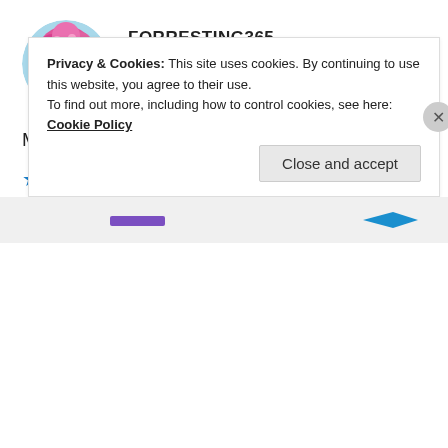[Figure (illustration): Round avatar of a cartoon figure with a green face and pink/magenta floral afro hair against a colorful background]
FORRESTING365
Jul 17, 2020 at 4:47 pm
My pleasure, Ishita!!! 🤗❤️😊
★ Liked by 1 person
REPLY
Privacy & Cookies: This site uses cookies. By continuing to use this website, you agree to their use.
To find out more, including how to control cookies, see here: Cookie Policy
Close and accept